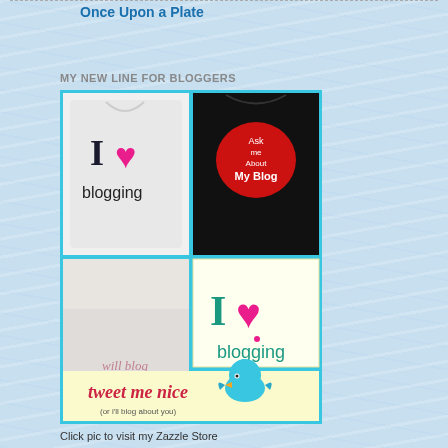Once Upon a Plate
MY NEW LINE FOR BLOGGERS
[Figure (photo): Collage of blogger merchandise: white t-shirt with 'I ♥ blogging', black t-shirt with 'Ask me About My Blog', 'will blog for comments' t-shirt, 'I ♥ blogging' sticker, and 'tweet me nice (or i'll blog about you)' note with blue bird]
Click pic to visit my Zazzle Store